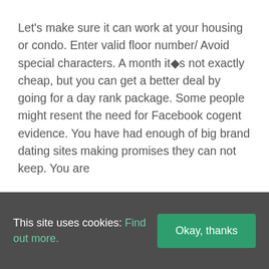Let's make sure it can work at your housing or condo. Enter valid floor number/ Avoid special characters. A month it�s not exactly cheap, but you can get a better deal by going for a day rank package. Some people might resent the need for Facebook cogent evidence. You have had enough of big brand dating sites making promises they can not keep. You are
This site uses cookies: Find out more.
Okay, thanks